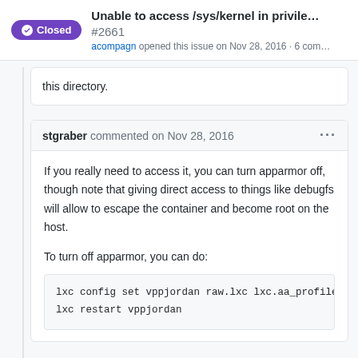Unable to access /sys/kernel in privile... #2661 — acompagn opened this issue on Nov 28, 2016 · 6 com...
this directory.
stgraber commented on Nov 28, 2016
If you really need to access it, you can turn apparmor off, though note that giving direct access to things like debugfs will allow to escape the container and become root on the host.
To turn off apparmor, you can do:
lxc config set vppjordan raw.lxc lxc.aa_profile=unc
lxc restart vppjordan